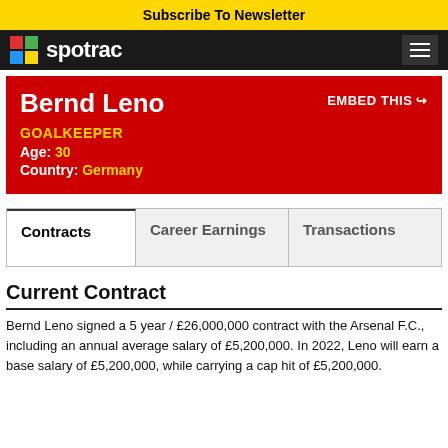Subscribe To Newsletter
[Figure (logo): Spotrac logo with colorful squares and white text on black navbar]
Bernd Leno
GOALKEEPER
Age: 30
Country: Germany
EMBED THIS
| Contracts | Career Earnings | Transactions |
| --- | --- | --- |
Current Contract
Bernd Leno signed a 5 year / £26,000,000 contract with the Arsenal F.C., including an annual average salary of £5,200,000. In 2022, Leno will earn a base salary of £5,200,000, while carrying a cap hit of £5,200,000.